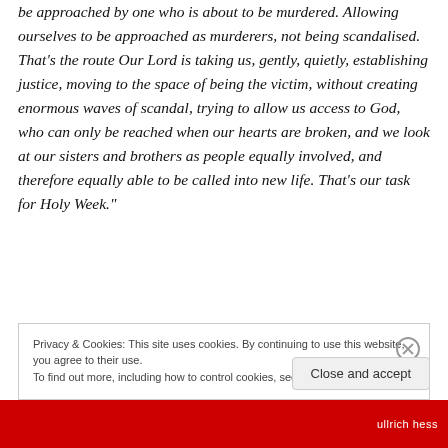be approached by one who is about to be murdered. Allowing ourselves to be approached as murderers, not being scandalised. That's the route Our Lord is taking us, gently, quietly, establishing justice, moving to the space of being the victim, without creating enormous waves of scandal, trying to allow us access to God, who can only be reached when our hearts are broken, and we look at our sisters and brothers as people equally involved, and therefore equally able to be called into new life. That's our task for Holy Week."
Privacy & Cookies: This site uses cookies. By continuing to use this website, you agree to their use. To find out more, including how to control cookies, see here: Cookie Policy
Close and accept